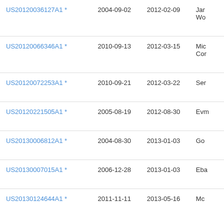| Patent Number | Filing Date | Publication Date | Assignee |
| --- | --- | --- | --- |
| US20120036127A1 * | 2004-09-02 | 2012-02-09 | Ja... Wo... |
| US20120066346A1 * | 2010-09-13 | 2012-03-15 | Mic... Cor... |
| US20120072253A1 * | 2010-09-21 | 2012-03-22 | Ser... |
| US20120221505A1 * | 2005-08-19 | 2012-08-30 | Evm... |
| US20130006812A1 * | 2004-08-30 | 2013-01-03 | Go... |
| US20130007015A1 * | 2006-12-28 | 2013-01-03 | Eba... |
| US20130124644A1 * | 2011-11-11 | 2013-05-16 | Mc... |